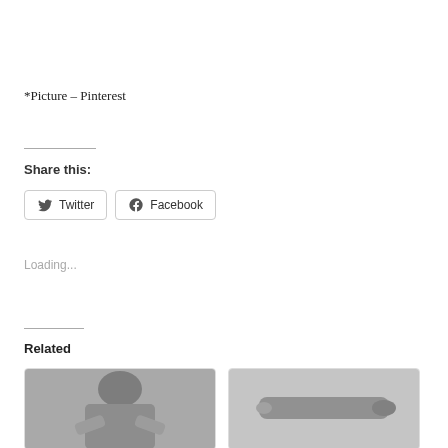*Picture – Pinterest
Share this:
[Figure (other): Twitter and Facebook share buttons]
Loading...
Related
[Figure (photo): Black and white photo of a person lying down]
[Figure (photo): Black and white photo of a bottle]